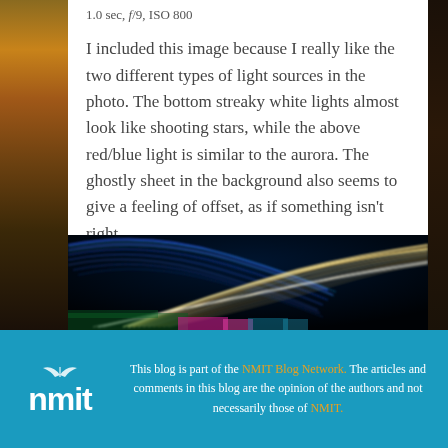1.0 sec, f/9, ISO 800
I included this image because I really like the two different types of light sources in the photo. The bottom streaky white lights almost look like shooting stars, while the above red/blue light is similar to the aurora. The ghostly sheet in the background also seems to give a feeling of offset, as if something isn't right.
[Figure (photo): Long-exposure night photograph showing colorful light trails — blue arcs at top, white and golden streaking lines across the middle, over a black background.]
This blog is part of the NMIT Blog Network. The articles and comments in this blog are the opinion of the authors and not necessarily those of NMIT.